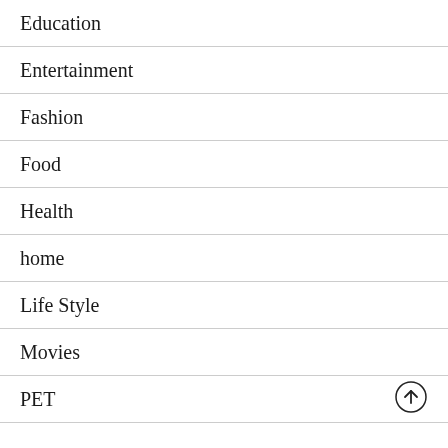Education
Entertainment
Fashion
Food
Health
home
Life Style
Movies
PET